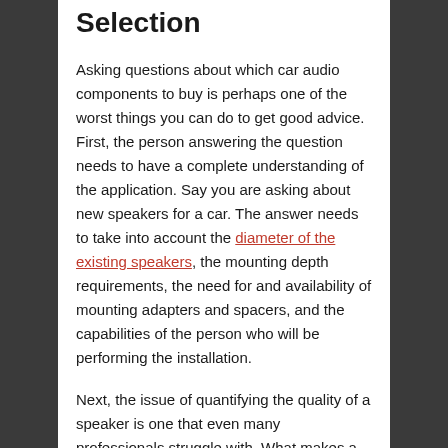Selection
Asking questions about which car audio components to buy is perhaps one of the worst things you can do to get good advice. First, the person answering the question needs to have a complete understanding of the application. Say you are asking about new speakers for a car. The answer needs to take into account the diameter of the existing speakers, the mounting depth requirements, the need for and availability of mounting adapters and spacers, and the capabilities of the person who will be performing the installation.
Next, the issue of quantifying the quality of a speaker is one that even many professionals struggle with. What makes a good speaker...